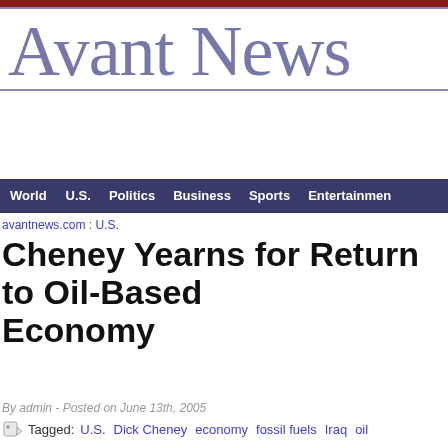Avant News
World  U.S.  Politics  Business  Sports  Entertainment
avantnews.com : U.S.
Cheney Yearns for Return to Oil-Based Economy
By admin - Posted on June 13th, 2005
Tagged: U.S.  Dick Cheney  economy  fossil fuels  Iraq  oil
Wichita, KS, January 16, 2047 -- In an exclusive interview with th